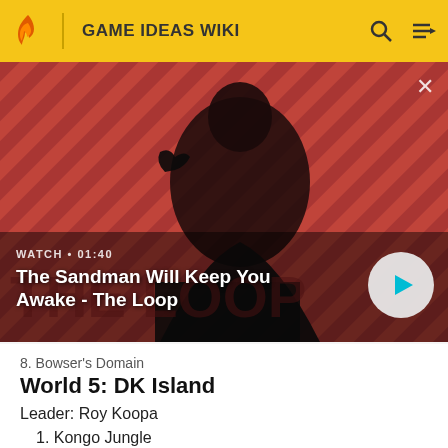GAME IDEAS WIKI
[Figure (screenshot): Video thumbnail for 'The Sandman Will Keep You Awake - The Loop' with a dark-robed figure against a red striped background. Shows WATCH • 01:40 label and a play button.]
WATCH • 01:40
The Sandman Will Keep You Awake - The Loop
8. Bowser's Domain
World 5: DK Island
Leader: Roy Koopa
1. Kongo Jungle